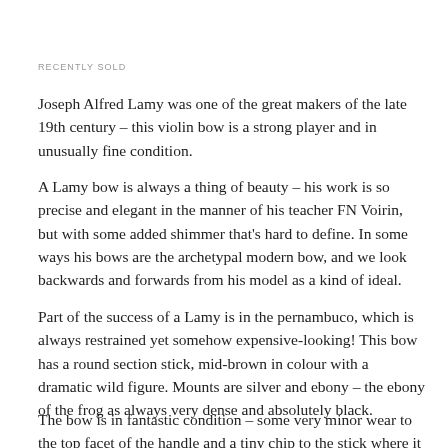RECENTLY SOLD
Joseph Alfred Lamy was one of the great makers of the late 19th century – this violin bow is a strong player and in unusually fine condition.
A Lamy bow is always a thing of beauty – his work is so precise and elegant in the manner of his teacher FN Voirin, but with some added shimmer that's hard to define. In some ways his bows are the archetypal modern bow, and we look backwards and forwards from his model as a kind of ideal.
Part of the success of a Lamy is in the pernambuco, which is always restrained yet somehow expensive-looking! This bow has a round section stick, mid-brown in colour with a dramatic wild figure. Mounts are silver and ebony – the ebony of the frog as always very dense and absolutely black.
The bow is in fantastic condition – some very minor wear to the top facet of the handle and a tiny chip to the stick where it meets